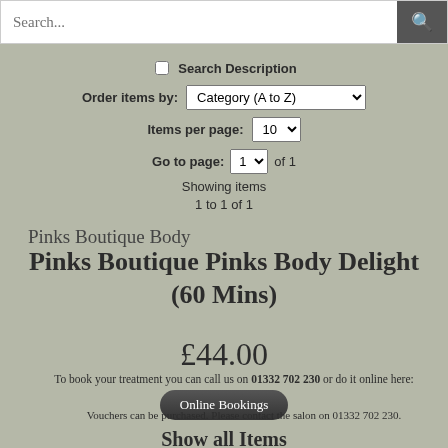Search...
Search Description
Order items by: Category (A to Z)
Items per page: 10
Go to page: 1 of 1
Showing items 1 to 1 of 1
Pinks Boutique Body
Pinks Boutique Pinks Body Delight (60 Mins)
£44.00
To book your treatment you can call us on 01332 702 230 or do it online here:
Online Bookings
Vouchers can be purchased. Please contact the salon on 01332 702 230.
Show all Items